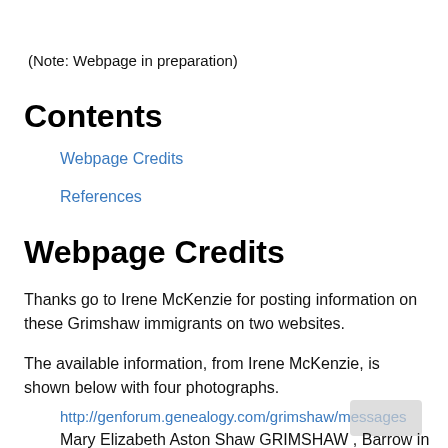(Note: Webpage in preparation)
Contents
Webpage Credits
References
Webpage Credits
Thanks go to Irene McKenzie for posting information on these Grimshaw immigrants on two websites.
The available information, from Irene McKenzie, is shown below with four photographs.
http://genforum.genealogy.com/grimshaw/messages
Mary Elizabeth Aston Shaw GRIMSHAW , Barrow in Furness